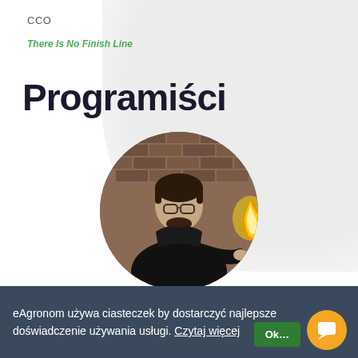CCO
There Is No Finish Line
Programiści
[Figure (photo): Circular profile photo of a young man with glasses wearing a black jacket, holding a flaming torch, standing against a brick wall background.]
eAgronom używa ciasteczek by dostarczyć najlepsze doświadczenie używania usługi. Czytaj więcej